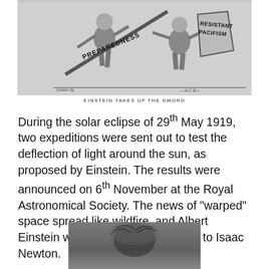[Figure (illustration): A black and white cartoon/illustration showing figures with swords labeled 'PREPAREDNESS' and 'RESISTANT PACIFISM']
EINSTEIN TAKES UP THE SWORD
During the solar eclipse of 29th May 1919, two expeditions were sent out to test the deflection of light around the sun, as proposed by Einstein. The results were announced on 6th November at the Royal Astronomical Society. The news of "warped" space spread like wildfire, and Albert Einstein was hailed as a successor to Isaac Newton.
[Figure (photo): Black and white photograph, partially visible, appearing to show a person with wild hair (likely Einstein)]